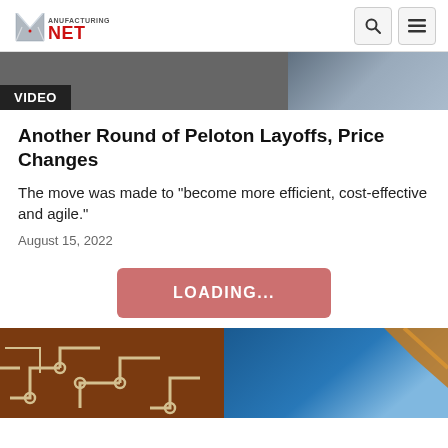Manufacturing.NET
[Figure (screenshot): Video thumbnail strip with dark background and VIDEO label on dark bar]
Another Round of Peloton Layoffs, Price Changes
The move was made to "become more efficient, cost-effective and agile."
August 15, 2022
[Figure (screenshot): Pink/salmon LOADING... button centered on page]
[Figure (photo): Left: close-up of brown/copper flexible circuit board traces. Right: blue surface with orange element.]
Manufacturing.NET logo